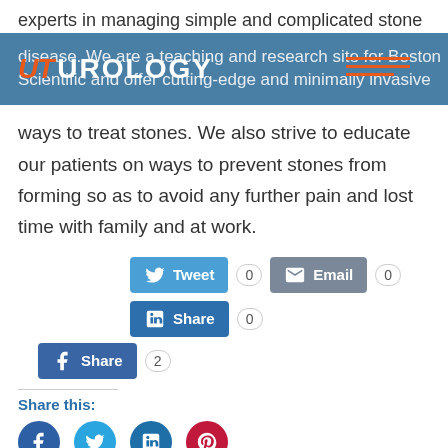experts in managing simple and complicated stone
[Figure (logo): UT Urology logo banner with blue background, showing 'UT UROLOGY' text with orange UT letters. Background text reads: 'disease. We are a teaching and research site for Boston Scientific and offer cutting-edge and minimally invasive']
ways to treat stones. We also strive to educate our patients on ways to prevent stones from forming so as to avoid any further pain and lost time with family and at work.
Social share buttons: Tweet 0, Email 0, Share 0, Share 2
Share this:
[Figure (infographic): Four circular social media icons: Facebook (blue), Twitter (light blue), LinkedIn (dark blue), Pinterest (red)]